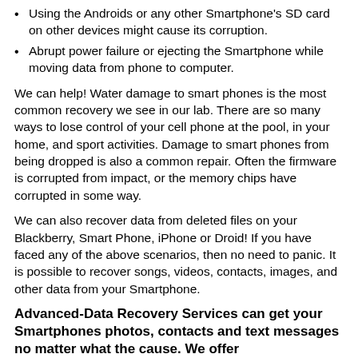Using the Androids or any other Smartphone's SD card on other devices might cause its corruption.
Abrupt power failure or ejecting the Smartphone while moving data from phone to computer.
We can help! Water damage to smart phones is the most common recovery we see in our lab. There are so many ways to lose control of your cell phone at the pool, in your home, and sport activities. Damage to smart phones from being dropped is also a common repair. Often the firmware is corrupted from impact, or the memory chips have corrupted in some way.
We can also recover data from deleted files on your Blackberry, Smart Phone, iPhone or Droid! If you have faced any of the above scenarios, then no need to panic. It is possible to recover songs, videos, contacts, images, and other data from your Smartphone.
Advanced-Data Recovery Services can get your Smartphones photos, contacts and text messages no matter what the cause. We offer